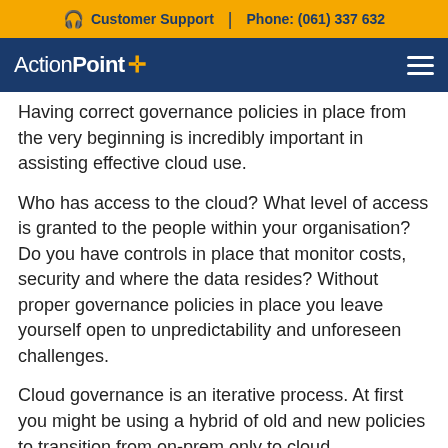Customer Support | Phone: (061) 337 632
ActionPoint
Having correct governance policies in place from the very beginning is incredibly important in assisting effective cloud use.
Who has access to the cloud? What level of access is granted to the people within your organisation? Do you have controls in place that monitor costs, security and where the data resides? Without proper governance policies in place you leave yourself open to unpredictability and unforeseen challenges.
Cloud governance is an iterative process. At first you might be using a hybrid of old and new policies to transition from on-prem only to cloud management. As you and your team become more familiar with the cloud, governance controls will adapt and keep evolving